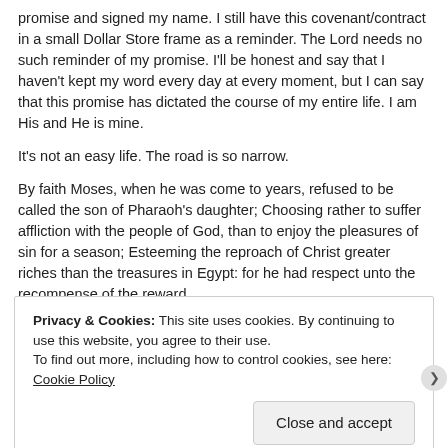promise and signed my name. I still have this covenant/contract in a small Dollar Store frame as a reminder. The Lord needs no such reminder of my promise. I'll be honest and say that I haven't kept my word every day at every moment, but I can say that this promise has dictated the course of my entire life. I am His and He is mine.
It's not an easy life. The road is so narrow.
By faith Moses, when he was come to years, refused to be called the son of Pharaoh's daughter; Choosing rather to suffer affliction with the people of God, than to enjoy the pleasures of sin for a season; Esteeming the reproach of Christ greater riches than the treasures in Egypt: for he had respect unto the recompense of the reward.
Privacy & Cookies: This site uses cookies. By continuing to use this website, you agree to their use. To find out more, including how to control cookies, see here: Cookie Policy
Close and accept